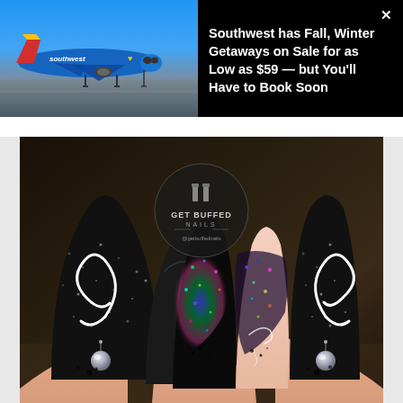[Figure (screenshot): Advertisement banner: Southwest Airlines blue plane on tarmac on left side, black background on right with white text headline about Fall/Winter sale fares]
Southwest has Fall, Winter Getaways on Sale for as Low as $59 — but You'll Have to Book Soon
[Figure (photo): Close-up photograph of decorative stiletto nails with black glitter, white swirl designs, pearl nail charms, and holographic glitter accent nails. GET BUFFED NAILS watermark logo visible in center.]